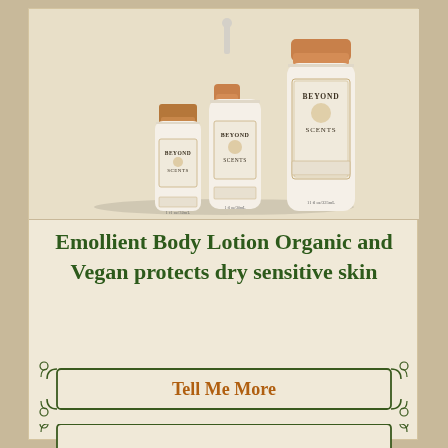[Figure (photo): Three Beyond Scents body lotion bottles of different sizes, cream/white colored with gold/rose-gold caps, with decorative labels reading 'Beyond Scents']
Emollient Body Lotion Organic and Vegan protects dry sensitive skin
Tell Me More